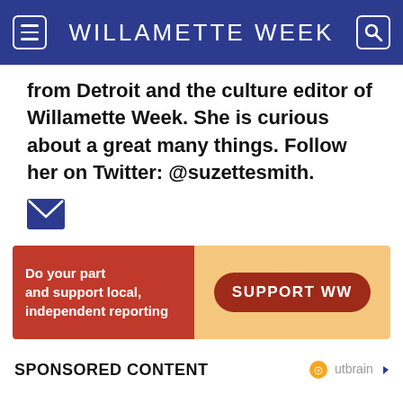WILLAMETTE WEEK
from Detroit and the culture editor of Willamette Week. She is curious about a great many things. Follow her on Twitter: @suzettesmith.
[Figure (illustration): Blue envelope/email icon]
[Figure (infographic): Advertisement banner: 'Do your part and support local, independent reporting' with 'SUPPORT WW' button]
SPONSORED CONTENT
[Figure (logo): Outbrain logo]